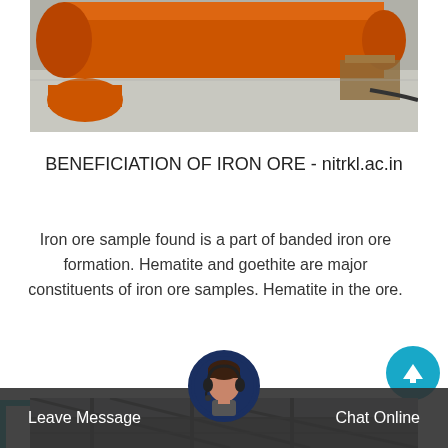[Figure (photo): Industrial equipment – large orange cylindrical rotating kiln or drum in a factory/plant setting with orange machinery and grey concrete floor]
BENEFICIATION OF IRON ORE - nitrkl.ac.in
Iron ore sample found is a part of banded iron ore formation. Hematite and goethite are major constituents of iron ore samples. Hematite in the ore.
[Figure (photo): Industrial building interior/exterior with metal structure and girders, partially visible]
Leave Message   Chat Online